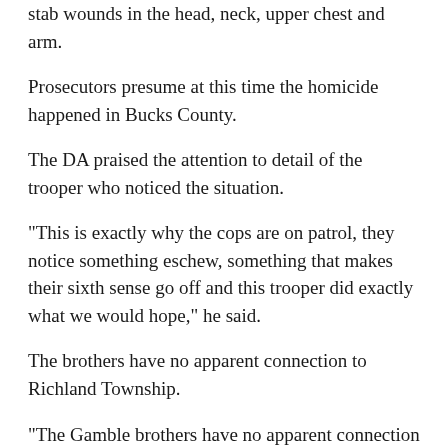stab wounds in the head, neck, upper chest and arm.
Prosecutors presume at this time the homicide happened in Bucks County.
The DA praised the attention to detail of the trooper who noticed the situation.
"This is exactly why the cops are on patrol, they notice something eschew, something that makes their sixth sense go off and this trooper did exactly what we would hope," he said.
The brothers have no apparent connection to Richland Township.
"The Gamble brothers have no apparent connection to this area, being Richland," Weintraub said. "Obviously this case is ongoing. I can't predict the future. I don't